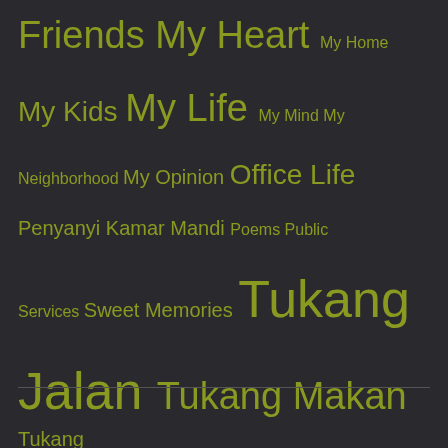[Figure (infographic): Tag cloud with olive/yellow-green text on dark background. Tags include: Friends My Heart (large), My Home (small), My Kids (medium), My Life (large), My Mind (small), My Neighborhood (medium), My Opinion (medium), Office Life (medium), Penyanyi Kamar Mandi (medium), Poems (small), Public Services (small), Sweet Memories (medium), Tukang (extra large), Jalan (extra large), Tukang Makan (large), Tukang Nonton (small). A horizontal rule divides near the bottom.]